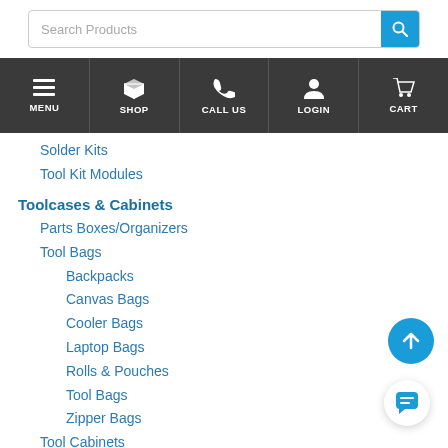[Figure (screenshot): Search bar with placeholder text 'Search Products' and blue search button]
[Figure (screenshot): Navigation bar with MENU, SHOP, CALL US, LOGIN, CART icons in dark background]
Solder Kits
Tool Kit Modules
Toolcases & Cabinets
Parts Boxes/Organizers
Tool Bags
Backpacks
Canvas Bags
Cooler Bags
Laptop Bags
Rolls & Pouches
Tool Bags
Zipper Bags
Tool Cabinets
Tool Cases
Moulded Tool Cases
Waterproof Toolcase